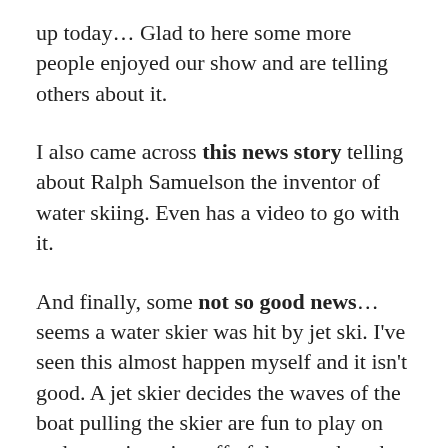up today… Glad to here some more people enjoyed our show and are telling others about it.
I also came across this news story telling about Ralph Samuelson the inventor of water skiing. Even has a video to go with it.
And finally, some not so good news… seems a water skier was hit by jet ski. I've seen this almost happen myself and it isn't good. A jet skier decides the waves of the boat pulling the skier are fun to play on and starts jumping off of them… then the skier falls and the jet skier doesn't see them in the water and… not sure if this is exactly what happened, but it is a very likely scenario. I'll bite my tongue and not keep typing what I want to type so I